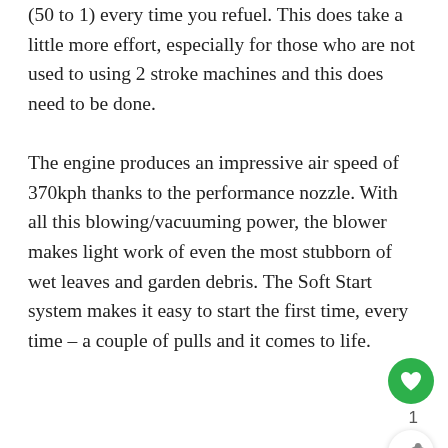(50 to 1) every time you refuel. This does take a little more effort, especially for those who are not used to using 2 stroke machines and this does need to be done.
The engine produces an impressive air speed of 370kph thanks to the performance nozzle. With all this blowing/vacuuming power, the blower makes light work of even the most stubborn of wet leaves and garden debris. The Soft Start system makes it easy to start the first time, every time – a couple of pulls and it comes to life.